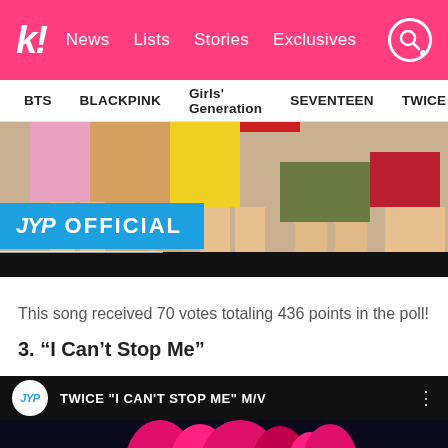k! News Lists Stories Exclusives
BTS BLACKPINK Girls' Generation SEVENTEEN TWICE
[Figure (screenshot): JYP Official YouTube channel banner showing colorful legs of TWICE members dancing, with blue JYP OFFICIAL logo overlay]
This song received 70 votes totaling 436 points in the poll!
3. “I Can’t Stop Me”
[Figure (screenshot): YouTube video thumbnail for TWICE 'I CAN'T STOP ME' M/V showing JYP circle logo, video title, and dark background with pink/magenta flame-like shapes]